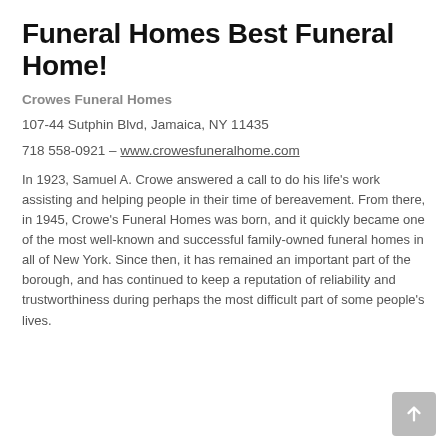Funeral Homes Best Funeral Home!
Crowes Funeral Homes
107-44 Sutphin Blvd, Jamaica, NY 11435
718 558-0921 – www.crowesfuneralhome.com
In 1923, Samuel A. Crowe answered a call to do his life's work assisting and helping people in their time of bereavement. From there, in 1945, Crowe's Funeral Homes was born, and it quickly became one of the most well-known and successful family-owned funeral homes in all of New York. Since then, it has remained an important part of the borough, and has continued to keep a reputation of reliability and trustworthiness during perhaps the most difficult part of some people's lives.